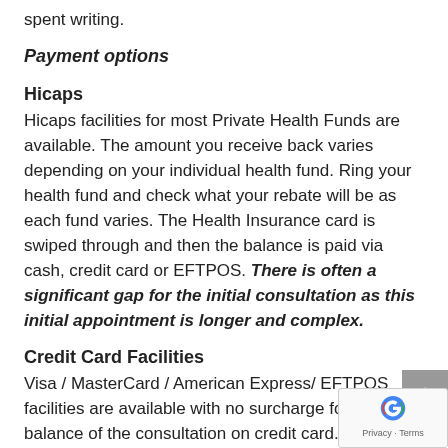spent writing.
Payment options
Hicaps
Hicaps facilities for most Private Health Funds are available. The amount you receive back varies depending on your individual health fund. Ring your health fund and check what your rebate will be as each fund varies. The Health Insurance card is swiped through and then the balance is paid via cash, credit card or EFTPOS. There is often a significant gap for the initial consultation as this initial appointment is longer and complex.
Credit Card Facilities
Visa / MasterCard / American Express/ EFTPOS facilities are available with no surcharge for paying balance of the consultation on credit card.